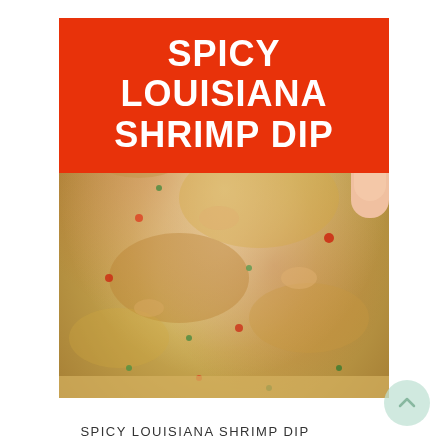[Figure (photo): Close-up photo of spicy Louisiana shrimp dip being scooped with a cracker, showing a cheesy, bubbly dip with red peppers and green herbs, with a thumb visible at top right holding the cracker.]
SPICY LOUISIANA SHRIMP DIP
SPICY LOUISIANA SHRIMP DIP